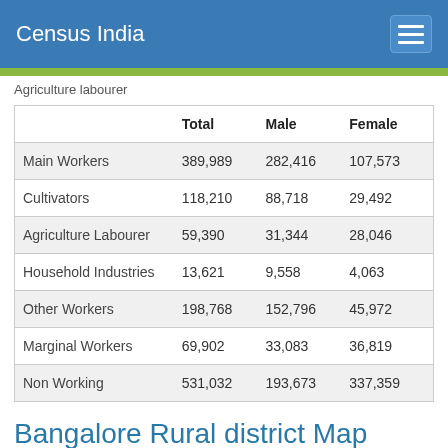Census India
Agriculture labourer
|  | Total | Male | Female |
| --- | --- | --- | --- |
| Main Workers | 389,989 | 282,416 | 107,573 |
| Cultivators | 118,210 | 88,718 | 29,492 |
| Agriculture Labourer | 59,390 | 31,344 | 28,046 |
| Household Industries | 13,621 | 9,558 | 4,063 |
| Other Workers | 198,768 | 152,796 | 45,972 |
| Marginal Workers | 69,902 | 33,083 | 36,819 |
| Non Working | 531,032 | 193,673 | 337,359 |
Bangalore Rural district Map